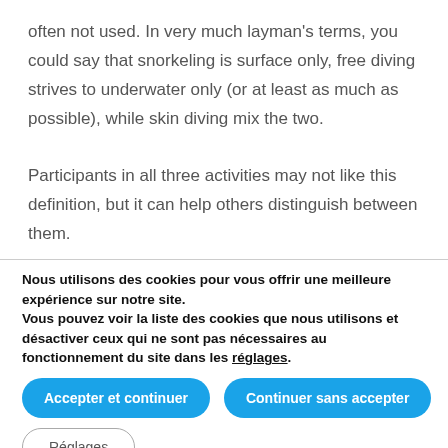often not used. In very much layman's terms, you could say that snorkeling is surface only, free diving strives to underwater only (or at least as much as possible), while skin diving mix the two. Participants in all three activities may not like this definition, but it can help others distinguish between them.
Nous utilisons des cookies pour vous offrir une meilleure expérience sur notre site. Vous pouvez voir la liste des cookies que nous utilisons et désactiver ceux qui ne sont pas nécessaires au fonctionnement du site dans les réglages.
Accepter et continuer
Continuer sans accepter
Réglages